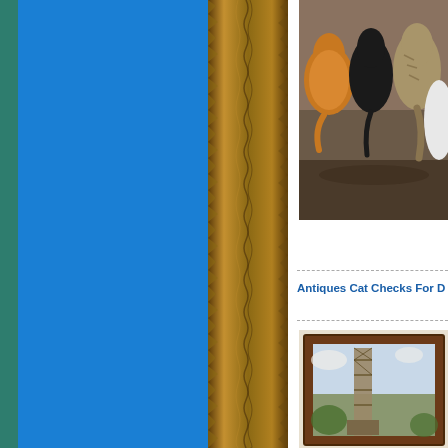[Figure (illustration): Teal/dark green vertical strip on far left edge of page]
[Figure (illustration): Bright blue sidebar occupying left-center portion of the page]
[Figure (illustration): Brown textured decorative column with wavy/jagged edges, wood-grain like texture]
[Figure (photo): Photo of multiple cats - orange tabby and other cats visible from behind, sitting together]
Antiques Cat Checks For D
[Figure (photo): Photo of an antique framed painting showing a tall tower or building structure with scaffolding]